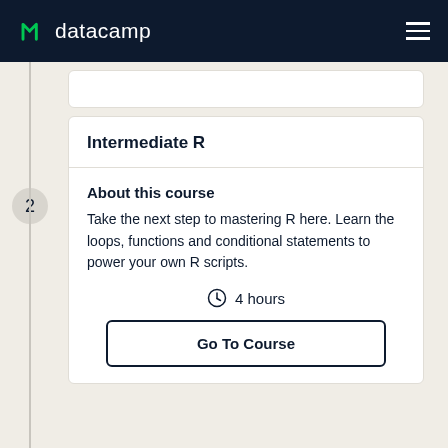datacamp
Intermediate R
About this course
Take the next step to mastering R here. Learn the loops, functions and conditional statements to power your own R scripts.
4 hours
Go To Course